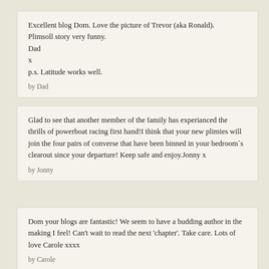Excellent blog Dom. Love the picture of Trevor (aka Ronald). Plimsoll story very funny.
Dad
x
p.s. Latitude works well.

by Dad
Glad to see that another member of the family has experianced the thrills of powerboat racing first hand!I think that your new plimies will join the four pairs of converse that have been binned in your bedroom`s clearout since your departure! Keep safe and enjoy.Jonny x

by Jonny
Dom your blogs are fantastic! We seem to have a budding author in the making I feel! Can't wait to read the next 'chapter'. Take care. Lots of love Carole xxxx

by Carole